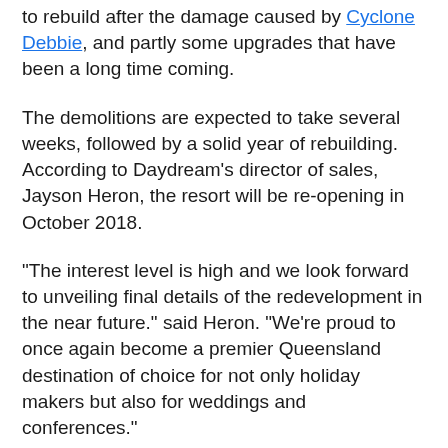to rebuild after the damage caused by Cyclone Debbie, and partly some upgrades that have been a long time coming.
The demolitions are expected to take several weeks, followed by a solid year of rebuilding. According to Daydream's director of sales, Jayson Heron, the resort will be re-opening in October 2018.
"The interest level is high and we look forward to unveiling final details of the redevelopment in the near future." said Heron. "We're proud to once again become a premier Queensland destination of choice for not only holiday makers but also for weddings and conferences."
The expensive upgrades will include a redevelopment